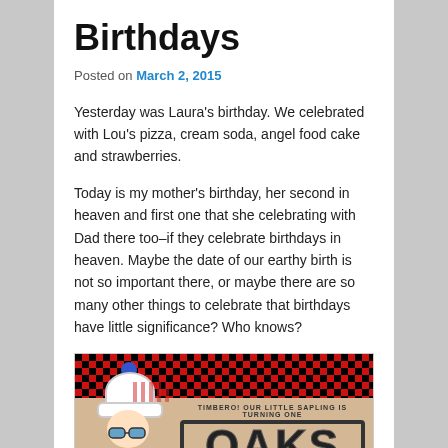Birthdays
Posted on March 2, 2015
Yesterday was Laura's birthday. We celebrated with Lou's pizza, cream soda, angel food cake and strawberries.
Today is my mother's birthday, her second in heaven and first one that she celebrating with Dad there too–if they celebrate birthdays in heaven. Maybe the date of our earthy birth is not so important there, or maybe there are so many other things to celebrate that birthdays have little significance? Who knows?
[Figure (photo): Birthday party invitation card with red and black plaid pattern at top, a child wearing a white knit hat with blue pom-pom and red sunglasses, and large text reading 'OAKS' with smaller text 'TIMBERO! OUR LITTLE SAPLING IS TURNING ONE']